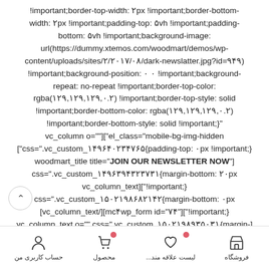!important;border-top-width: ۲px !important;border-bottom-width: ۲px !important;padding-top: ۵vh !important;padding-bottom: ۵vh !important;background-image: url(https://dummy.xtemos.com/woodmart/demos/wp-content/uploads/sites/۲/۲۰۱۷/۰۸/dark-newslatter.jpg?id=۹۴۹) !important;background-position: ۰ ۰ !important;background-repeat: no-repeat !important;border-top-color: rgba(۱۲۹,۱۲۹,۱۲۹,۰.۲) !important;border-top-style: solid !important;border-bottom-color: rgba(۱۲۹,۱۲۹,۱۲۹,۰.۲) !important;border-bottom-style: solid !important;}" vc_column o=""]["el_class="mobile-bg-img-hidden ["css=".vc_custom_۱۴۹۶۴۰۲۳۴۷۶۵{padding-top: ۰px !important;} woodmart_title title="JOIN OUR NEWSLETTER NOW"] css=".vc_custom_۱۴۹۶۳۹۴۳۲۳۷۳۱{margin-bottom: ۲۰px vc_column_text]["!important;} css=".vc_custom_۱۵۰۲۱۹۸۶۸۲۱۴۲{margin-bottom: ۰px [vc_column_text/][mcf wp_form id="۷۴"]["!important;} vc_column_text o="" css=".vc_custom_۱۵۰۲۱۹۸۹۳۵۰۳۱{margin-]
حساب کاربری من | محصول | لیست علاقه مند... | فروشگاه